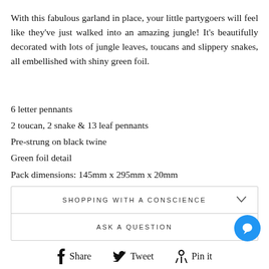With this fabulous garland in place, your little partygoers will feel like they've just walked into an amazing jungle! It's beautifully decorated with lots of jungle leaves, toucans and slippery snakes, all embellished with shiny green foil.
6 letter pennants
2 toucan, 2 snake & 13 leaf pennants
Pre-strung on black twine
Green foil detail
Pack dimensions: 145mm x 295mm x 20mm
SHOPPING WITH A CONSCIENCE
ASK A QUESTION
Share   Tweet   Pin it